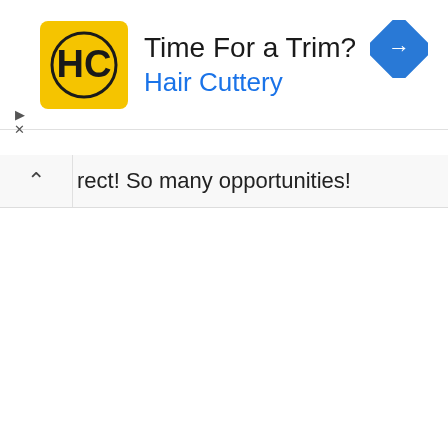[Figure (other): Hair Cuttery advertisement banner with yellow HC logo, title 'Time For a Trim?', brand name 'Hair Cuttery' in blue, and a blue diamond-shaped navigation arrow icon on the right]
rect! So many opportunities!